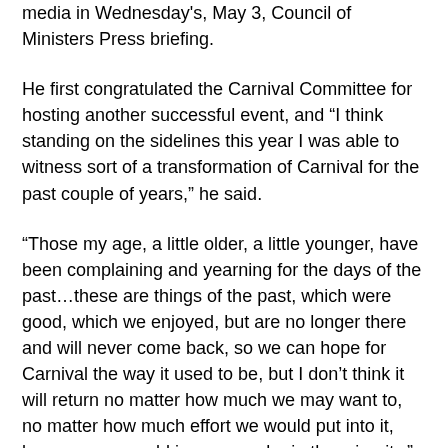media in Wednesday's, May 3, Council of Ministers Press briefing.
He first congratulated the Carnival Committee for hosting another successful event, and “I think standing on the sidelines this year I was able to witness sort of a transformation of Carnival for the past couple of years,” he said.
“Those my age, a little older, a little younger, have been complaining and yearning for the days of the past…these are things of the past, which were good, which we enjoyed, but are no longer there and will never come back, so we can hope for Carnival the way it used to be, but I don’t think it will return no matter how much we may want to, no matter how much effort we would put into it, because we would in essence be in the minority,” the Prime Minister reflected.
PM Marlin also noted, “We have seen a lot of young people in